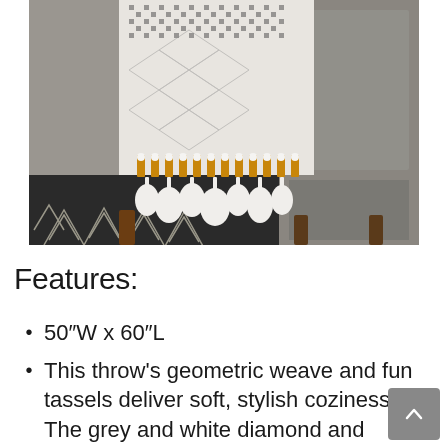[Figure (photo): A knitted/woven throw blanket with grey and white geometric/herringbone pattern, featuring golden yellow and white tassels at the bottom, draped over a grey upholstered chair, with a black and white leaf-patterned rug below.]
Features:
50″W x 60″L
This throw's geometric weave and fun tassels deliver soft, stylish coziness. The grey and white diamond and herringbone pattern is finished